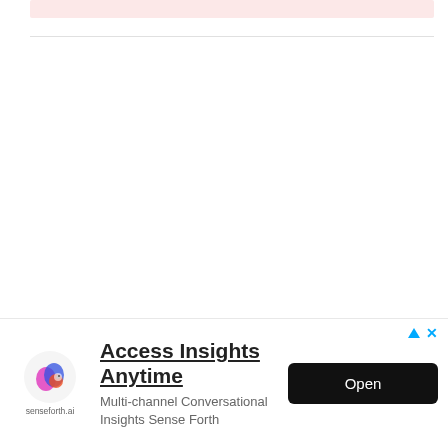[Figure (other): Pink/light red horizontal bar at top of page content area]
[Figure (other): Collapse/expand chevron button on left side]
[Figure (other): Advertisement banner at bottom: senseforth.ai logo, 'Access Insights Anytime' headline, 'Multi-channel Conversational Insights Sense Forth' subtitle, and 'Open' button]